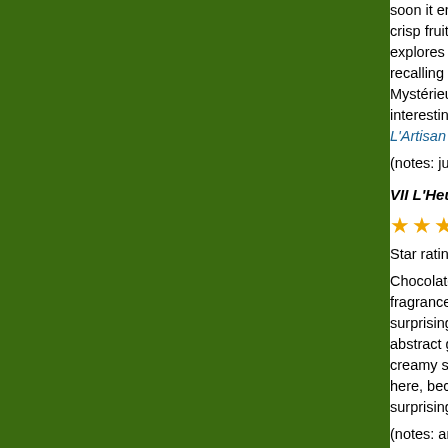soon it enters the t… crisp fruity notes, m… explores incense b… recalling Indian san… Mystérieuse, it doe… interesting, but for…
L'Artisan Parfumeu…
(notes: juniperberry…
VII L'Heure Défén…
★★★
Star rating: 5 stars--out…
Chocolate and pate… fragrances (from Ta… surprisingly retro a… abstract gourmand… creamy sweetness… here, because it is… surprising contrasts…
(notes: amber, san…
Les Heures de Pa…